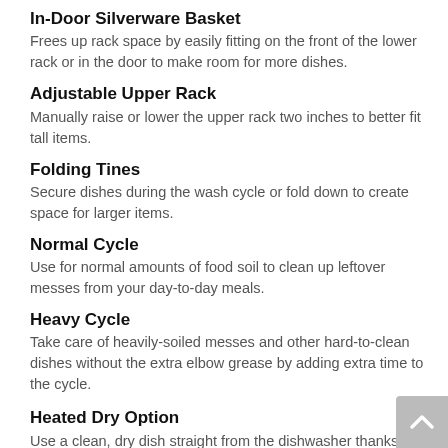In-Door Silverware Basket
Frees up rack space by easily fitting on the front of the lower rack or in the door to make room for more dishes.
Adjustable Upper Rack
Manually raise or lower the upper rack two inches to better fit tall items.
Folding Tines
Secure dishes during the wash cycle or fold down to create space for larger items.
Normal Cycle
Use for normal amounts of food soil to clean up leftover messes from your day-to-day meals.
Heavy Cycle
Take care of heavily-soiled messes and other hard-to-clean dishes without the extra elbow grease by adding extra time to the cycle.
Heated Dry Option
Use a clean, dry dish straight from the dishwasher thanks to added heat for drying. For optimal drying results, use this option with rinse aid…